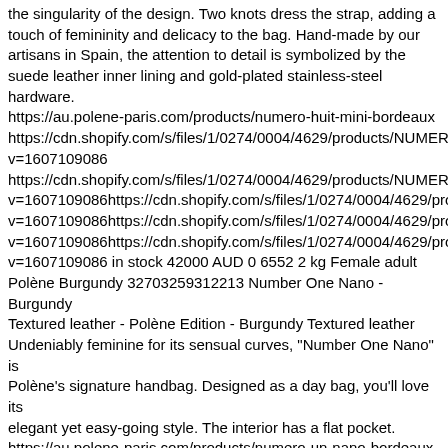the singularity of the design. Two knots dress the strap, adding a touch of femininity and delicacy to the bag. Hand-made by our artisans in Spain, the attention to detail is symbolized by the suede leather inner lining and gold-plated stainless-steel hardware. https://au.polene-paris.com/products/numero-huit-mini-bordeaux https://cdn.shopify.com/s/files/1/0274/0004/4629/products/NUMERO v=1607109086 https://cdn.shopify.com/s/files/1/0274/0004/4629/products/NUMERO v=1607109086https://cdn.shopify.com/s/files/1/0274/0004/4629/pro v=1607109086https://cdn.shopify.com/s/files/1/0274/0004/4629/pro v=1607109086https://cdn.shopify.com/s/files/1/0274/0004/4629/pro v=1607109086 in stock 42000 AUD 0 6552 2 kg Female adult Polène Burgundy 32703259312213 Number One Nano - Burgundy Textured leather - Polène Edition - Burgundy Textured leather Undeniably feminine for its sensual curves, "Number One Nano" is Polène's signature handbag. Designed as a day bag, you'll love its elegant yet easy-going style. The interior has a flat pocket. https://au.polene-paris.com/products/numero-un-nano-bordeaux-graine https://cdn.shopify.com/s/files/1/0274/0004/4629/products/NUMERO v=1617118852 https://cdn.shopify.com/s/files/1/0274/0004/4629/products/NUMERO v=1617118852https://cdn.shopify.com/s/files/1/0274/0004/4629/pro v=1617118852https://cdn.shopify.com/s/files/1/0274/0004/4629/pro v=1617118852https://cdn.shopify.com/s/files/1/0274/0004/4629/pro v=1617118852https://cdn.shopify.com/s/files/1/0274/0004/4629/pro